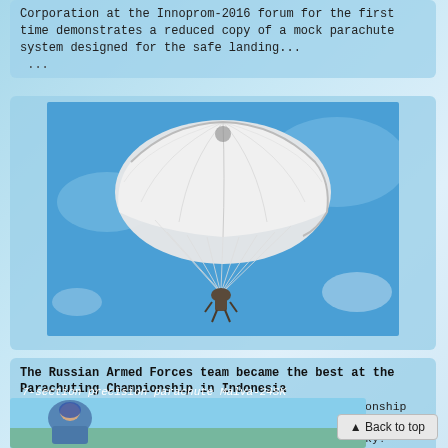Corporation at the Innoprom-2016 forum for the first time demonstrates a reduced copy of a mock parachute system designed for the safe landing... ...
[Figure (photo): A white military/sport parachute deployed in a blue sky, with a person hanging below]
The Russian Armed Forces team became the best at the Parachuting Championship in Indonesia
In Indonesia, the 38th SIZM Parachute World Championship ended. Our servicemen have once again proved that they have no equal not only on earth, but also in the sky! The... ...
7-section precision parachute Malva-24SK
[Figure (photo): Bottom portion of page showing a parachutist or parachuting equipment against sky/landscape background]